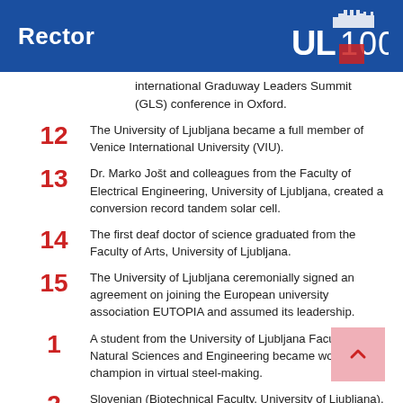Rector
international Graduway Leaders Summit (GLS) conference in Oxford.
12  The University of Ljubljana became a full member of Venice International University (VIU).
13  Dr. Marko Jošt and colleagues from the Faculty of Electrical Engineering, University of Ljubljana, created a conversion record tandem solar cell.
14  The first deaf doctor of science graduated from the Faculty of Arts, University of Ljubljana.
15  The University of Ljubljana ceremonially signed an agreement on joining the European university association EUTOPIA and assumed its leadership.
1  A student from the University of Ljubljana Faculty of Natural Sciences and Engineering became world champion in virtual steel-making.
2  Slovenian (Biotechnical Faculty, University of Ljubljana),